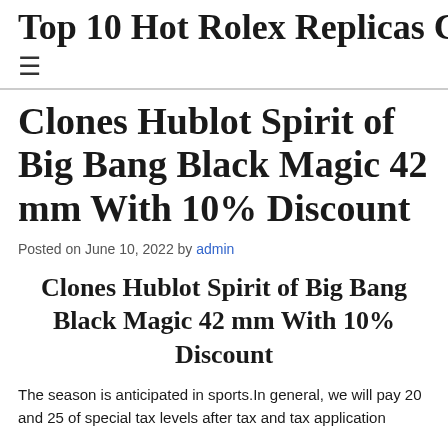Top 10 Hot Rolex Replicas Cheap
Clones Hublot Spirit of Big Bang Black Magic 42 mm With 10% Discount
Posted on June 10, 2022 by admin
Clones Hublot Spirit of Big Bang Black Magic 42 mm With 10% Discount
The season is anticipated in sports.In general, we will pay 20 and 25 of special tax levels after tax and tax application